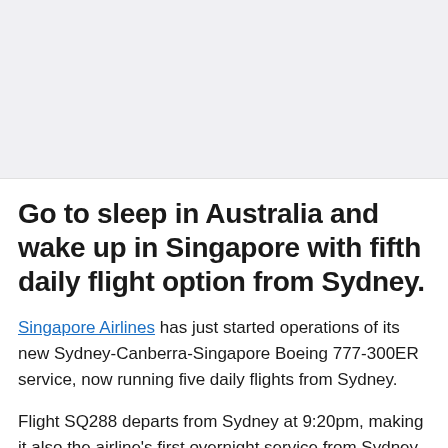[Figure (photo): Image placeholder area at top of article page, light grey background]
Go to sleep in Australia and wake up in Singapore with fifth daily flight option from Sydney.
Singapore Airlines has just started operations of its new Sydney-Canberra-Singapore Boeing 777-300ER service, now running five daily flights from Sydney.
Flight SQ288 departs from Sydney at 9:20pm, making it also the airline's first overnight service from Sydney, arriving into Singapore at 5:15am.